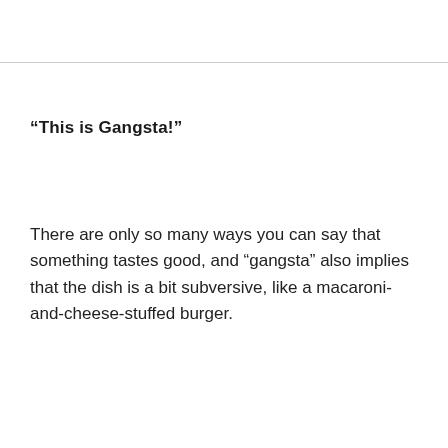“This is Gangsta!”
There are only so many ways you can say that something tastes good, and “gangsta” also implies that the dish is a bit subversive, like a macaroni-and-cheese-stuffed burger.